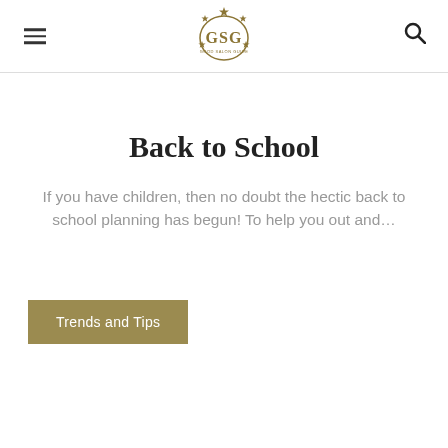GSG Good Salon Guide
Back to School
If you have children, then no doubt the hectic back to school planning has begun! To help you out and…
Trends and Tips